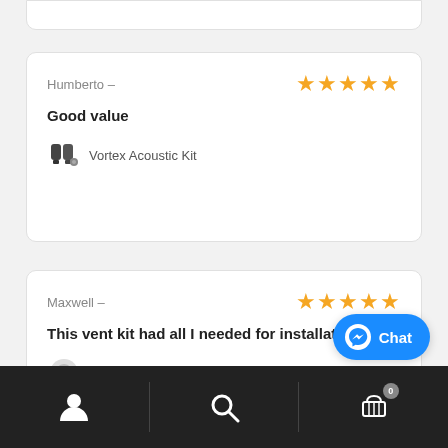Humberto – ★★★★★
Good value
Vortex Acoustic Kit
Maxwell – ★★★★★
This vent kit had all I needed for installation
Vortex – Acoustic Pro Vent Kit
[Figure (other): Blue Facebook Messenger Chat button with messenger lightning bolt icon]
User icon | Search icon | Cart icon (0)